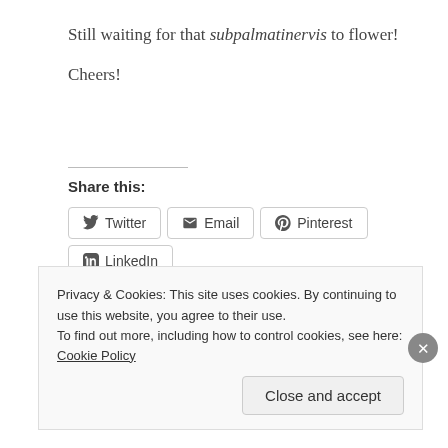Still waiting for that subpalmatinervis to flower!
Cheers!
Share this:
Twitter  Email  Pinterest  LinkedIn
Privacy & Cookies: This site uses cookies. By continuing to use this website, you agree to their use.
To find out more, including how to control cookies, see here: Cookie Policy
Close and accept